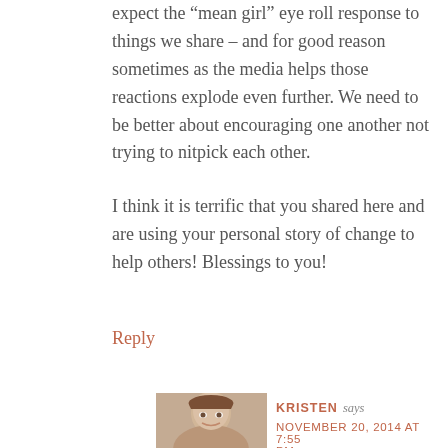expect the “mean girl” eye roll response to things we share – and for good reason sometimes as the media helps those reactions explode even further. We need to be better about encouraging one another not trying to nitpick each other.
I think it is terrific that you shared here and are using your personal story of change to help others! Blessings to you!
Reply
[Figure (photo): Small circular or square avatar photo of a woman with brown hair, smiling]
KRISTEN says NOVEMBER 20, 2014 AT 7:55 PM